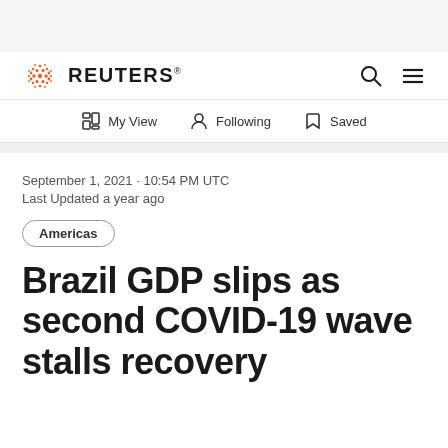REUTERS
My View · Following · Saved
September 1, 2021 · 10:54 PM UTC
Last Updated a year ago
Americas
Brazil GDP slips as second COVID-19 wave stalls recovery